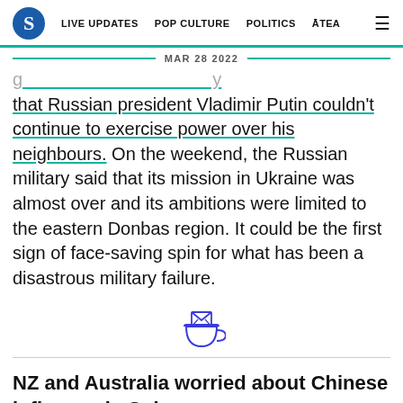S  LIVE UPDATES  POP CULTURE  POLITICS  ĀTEA  ☰
MAR 28 2022
that Russian president Vladimir Putin couldn't continue to exercise power over his neighbours. On the weekend, the Russian military said that its mission in Ukraine was almost over and its ambitions were limited to the eastern Donbas region. It could be the first sign of face-saving spin for what has been a disastrous military failure.
[Figure (illustration): Small blue illustrated icon of a teacup with an envelope/letter inside it]
NZ and Australia worried about Chinese influence in Solomons.